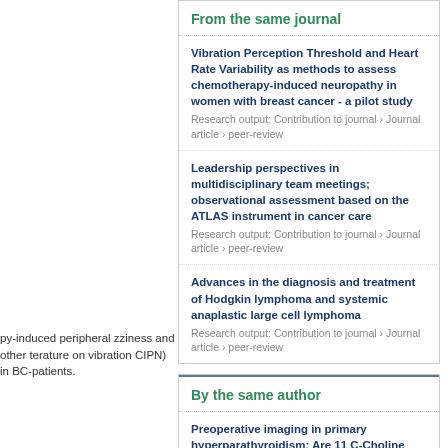py-induced peripheral zziness and other terature on vibration CIPN) in BC-patients.
s had to address HRV
s showed lowered er taxane-based
hemotherapy still missing and ment of CIPN. With ing task. However, sensory affection international
From the same journal
Vibration Perception Threshold and Heart Rate Variability as methods to assess chemotherapy-induced neuropathy in women with breast cancer - a pilot study
Research output: Contribution to journal › Journal article › peer-review
Leadership perspectives in multidisciplinary team meetings; observational assessment based on the ATLAS instrument in cancer care
Research output: Contribution to journal › Journal article › peer-review
Advances in the diagnosis and treatment of Hodgkin lymphoma and systemic anaplastic large cell lymphoma
Research output: Contribution to journal › Journal article › peer-review
By the same author
Preoperative imaging in primary hyperparathyroidism: Are 11 C-Choline PET/CT and 99m Tc-MIBI/123 Iodide Subtraction SPECT/CT interchangeable or do they supplement each other?
Research output: Contribution to journal › Journal